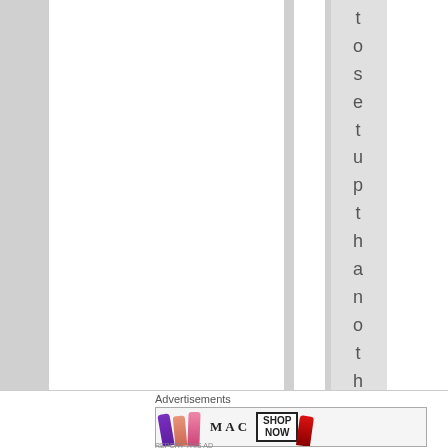[Figure (screenshot): A webpage layout showing multiple vertical white columns on a gray background. A highlighted light-gray column contains vertical text reading 'to set up the han others' one letter per line. Below the main area is an 'Advertisements' label and a MAC Cosmetics banner ad showing lipsticks with 'SHOP NOW' button.]
Advertisements